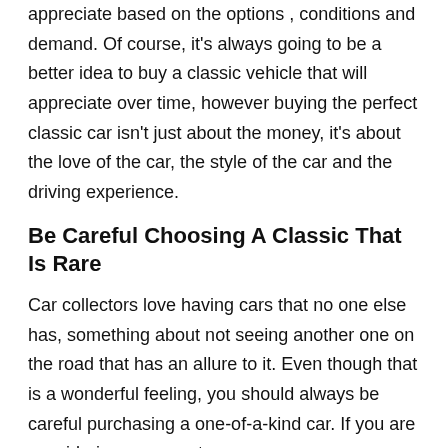appreciate based on the options , conditions and demand. Of course, it's always going to be a better idea to buy a classic vehicle that will appreciate over time, however buying the perfect classic car isn't just about the money, it's about the love of the car, the style of the car and the driving experience.
Be Careful Choosing A Classic That Is Rare
Car collectors love having cars that no one else has, something about not seeing another one on the road that has an allure to it. Even though that is a wonderful feeling, you should always be careful purchasing a one-of-a-kind car. If you are considering a concept car , a car someone notable owned or a one off custom. These cars have a sexiness to them but with that beauty comes a difficult or near impossible task of finding parts if the need ever arises. Sometimes these